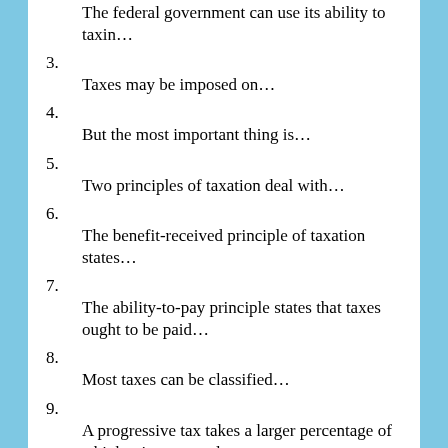The federal government can use its ability to taxin…
3. Taxes may be imposed on…
4. But the most important thing is…
5. Two principles of taxation deal with…
6. The benefit-received principle of taxation states…
7. The ability-to-pay principle states that taxes ought to be paid…
8. Most taxes can be classified…
9. A progressive tax takes a larger percentage of a higher income and…
10. A regressive tax is one that takes…
11. A proportional tax takes…
12. A sales tax is a general tax levied…
13. A value-added tax is similar…
14.